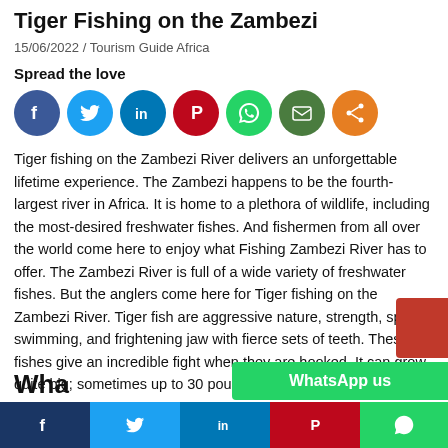Tiger Fishing on the Zambezi
15/06/2022 / Tourism Guide Africa
Spread the love
[Figure (infographic): Social sharing icons row: Facebook (blue), Twitter (light blue), LinkedIn (dark blue), Pinterest (red), WhatsApp (green), Email (dark green), Share (orange)]
Tiger fishing on the Zambezi River delivers an unforgettable lifetime experience. The Zambezi happens to be the fourth-largest river in Africa. It is home to a plethora of wildlife, including the most-desired freshwater fishes. And fishermen from all over the world come here to enjoy what Fishing Zambezi River has to offer. The Zambezi River is full of a wide variety of freshwater fishes. But the anglers come here for Tiger fishing on the Zambezi River. Tiger fish are aggressive nature, strength, speedy swimming, and frightening jaw with fierce sets of teeth. These fishes give an incredible fight when they are hooked. It can grow quite big; sometimes up to 30 pounds even.
Wha...
[Figure (infographic): Bottom social share bar with Facebook (dark blue), Twitter (blue), LinkedIn (dark blue), Pinterest (red), WhatsApp (green) buttons]
[Figure (infographic): WhatsApp us green button overlay, and red box in corner]